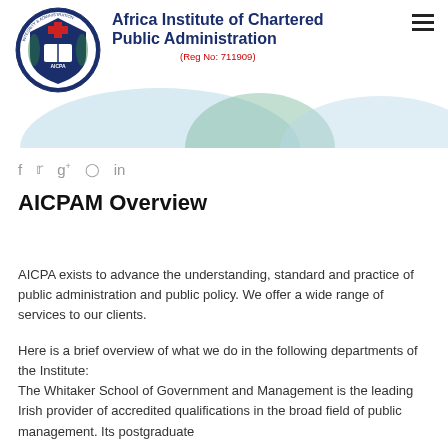[Figure (logo): AICPA shield/crest logo with circular emblem and text, alongside Africa Institute of Chartered Public Administration name and Reg No: 711909]
AICPAM Overview
AICPA exists to advance the understanding, standard and practice of public administration and public policy. We offer a wide range of services to our clients.
Here is a brief overview of what we do in the following departments of the Institute: The Whitaker School of Government and Management is the leading Irish provider of accredited qualifications in the broad field of public management. Its postgraduate